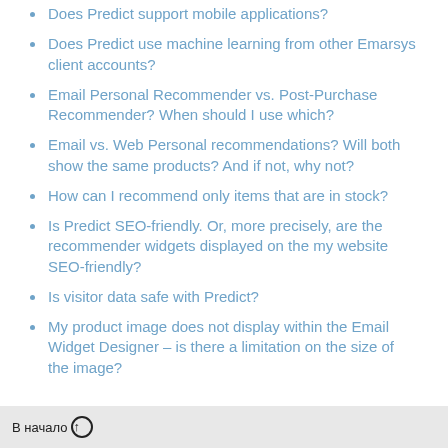Does Predict support mobile applications?
Does Predict use machine learning from other Emarsys client accounts?
Email Personal Recommender vs. Post-Purchase Recommender? When should I use which?
Email vs. Web Personal recommendations? Will both show the same products? And if not, why not?
How can I recommend only items that are in stock?
Is Predict SEO-friendly. Or, more precisely, are the recommender widgets displayed on the my website SEO-friendly?
Is visitor data safe with Predict?
My product image does not display within the Email Widget Designer – is there a limitation on the size of the image?
В начало ↑